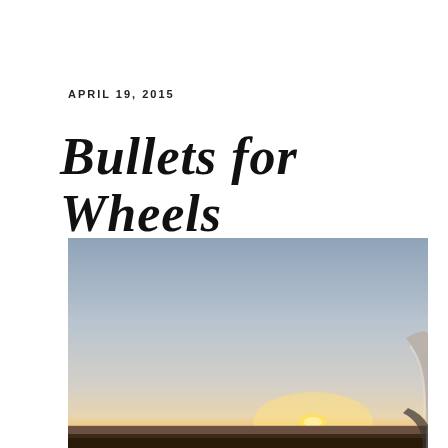APRIL 19, 2015
Bullets for Wheels
[Figure (photo): Sunset viewed from inside a car, with the car's curved roofline visible on the right side. The sky transitions from warm orange and yellow near the horizon to cool blue-grey above. The sun is low on the horizon casting a golden glow over a flat landscape.]